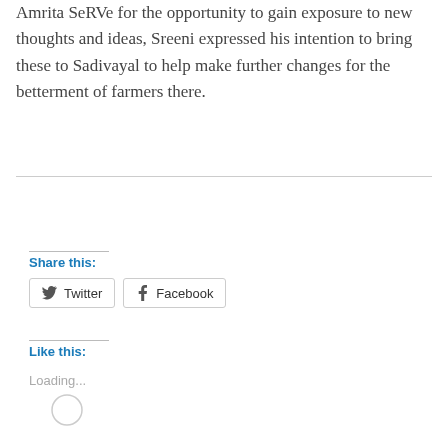Amrita SeRVe for the opportunity to gain exposure to new thoughts and ideas, Sreeni expressed his intention to bring these to Sadivayal to help make further changes for the betterment of farmers there.
Share this:
Twitter
Facebook
Like this:
Loading...